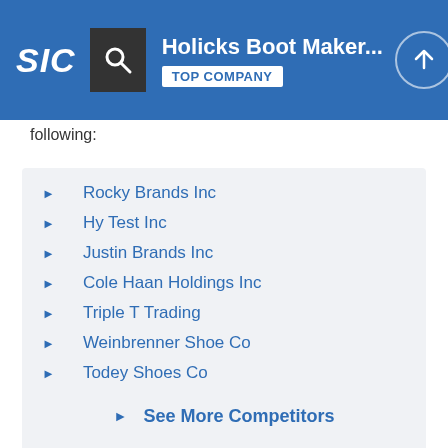SIC | Holicks Boot Maker... | TOP COMPANY
following:
Rocky Brands Inc
Hy Test Inc
Justin Brands Inc
Cole Haan Holdings Inc
Triple T Trading
Weinbrenner Shoe Co
Todey Shoes Co
Dsw Mid State Mall
Jp Original Corp
Molly Lorraine
See More Competitors